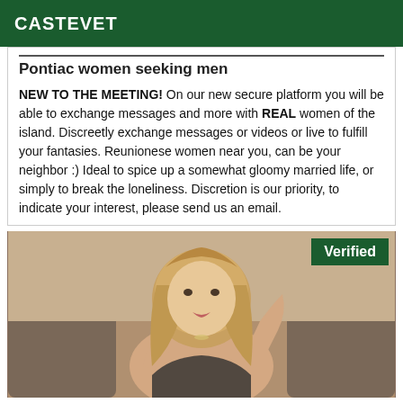CASTEVET
Pontiac women seeking men
NEW TO THE MEETING! On our new secure platform you will be able to exchange messages and more with REAL women of the island. Discreetly exchange messages or videos or live to fulfill your fantasies. Reunionese women near you, can be your neighbor :) Ideal to spice up a somewhat gloomy married life, or simply to break the loneliness. Discretion is our priority, to indicate your interest, please send us an email.
[Figure (photo): Photo of a blonde woman posing, with a green 'Verified' badge in the top-right corner]